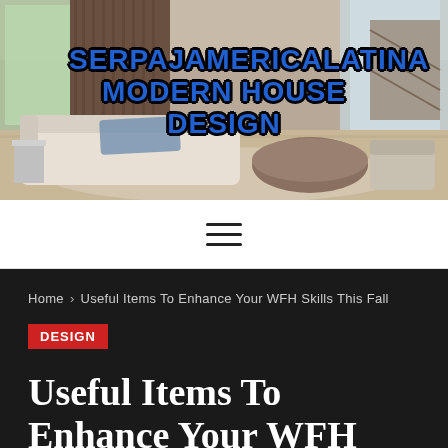[Figure (photo): Modern living room interior with white sectional sofa, round wooden coffee table, and large windows. Overlaid with site logo text.]
SERPAJAMERICALATINA MODERN HOUSE DESIGN
[Figure (infographic): Hamburger menu icon (three horizontal lines)]
Home > Useful Items To Enhance Your WFH Skills This Fall
DESIGN
Useful Items To Enhance Your WFH Skills This Fall